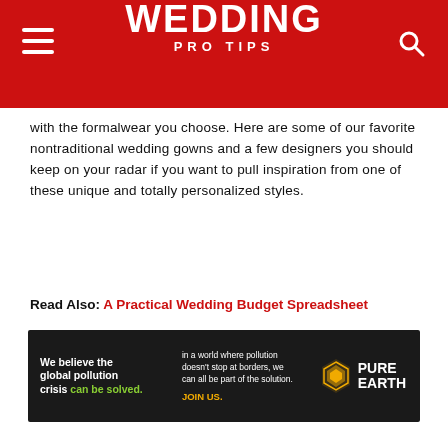WEDDING PRO TIPS
with the formalwear you choose. Here are some of our favorite nontraditional wedding gowns and a few designers you should keep on your radar if you want to pull inspiration from one of these unique and totally personalized styles.
Read Also:  A Practical Wedding Budget Spreadsheet
Sachin & Babi Archie Dress From Bhldn 395
We love a gown that is two looks in one, and this LWD is ticking all our boxes. Made from a breezy dupioni that will give you the lightness you
[Figure (other): Pure Earth advertisement banner: 'We believe the global pollution crisis can be solved. In a world where pollution doesn't stop at borders, we can all be part of the solution. JOIN US. PURE EARTH']